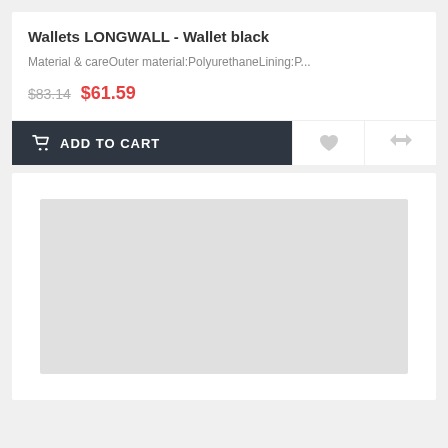Wallets LONGWALL - Wallet black
Material & careOuter material:PolyurethaneLining:P...
$83.14 $61.59
ADD TO CART
[Figure (photo): Product image placeholder (light gray rectangle)]